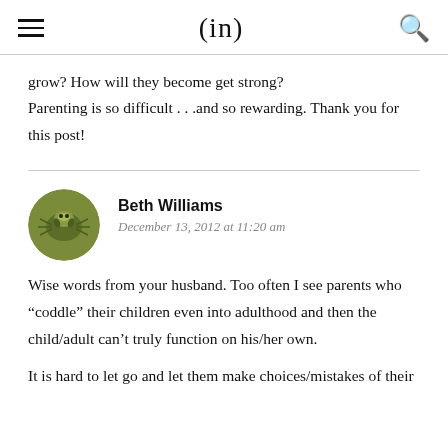(in)
grow? How will they become get strong?
Parenting is so difficult . . .and so rewarding. Thank you for this post!
Beth Williams
December 13, 2012 at 11:20 am
Wise words from your husband. Too often I see parents who “coddle” their children even into adulthood and then the child/adult can’t truly function on his/her own.
It is hard to let go and let them make choices/mistakes of their